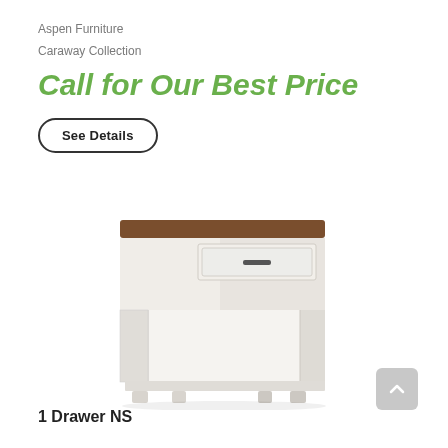Aspen Furniture
Caraway Collection
Call for Our Best Price
See Details
[Figure (photo): White nightstand with one drawer and open shelf below, featuring a dark walnut top and small block feet. Caraway Collection by Aspen Furniture.]
1 Drawer NS